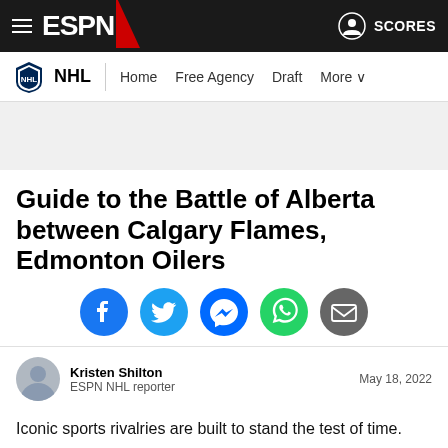ESPN — NHL | Home | Free Agency | Draft | More | SCORES
[Figure (screenshot): ESPN website header with hamburger menu, ESPN logo, NHL navigation bar with Home, Free Agency, Draft, More links, and SCORES button with user icon]
[Figure (other): Advertisement/ad banner placeholder (gray area)]
Guide to the Battle of Alberta between Calgary Flames, Edmonton Oilers
[Figure (infographic): Social sharing icon buttons: Facebook (blue), Twitter (light blue), Messenger (dark blue), WhatsApp (green), Email (gray)]
Kristen Shilton
ESPN NHL reporter
May 18, 2022
Iconic sports rivalries are built to stand the test of time.